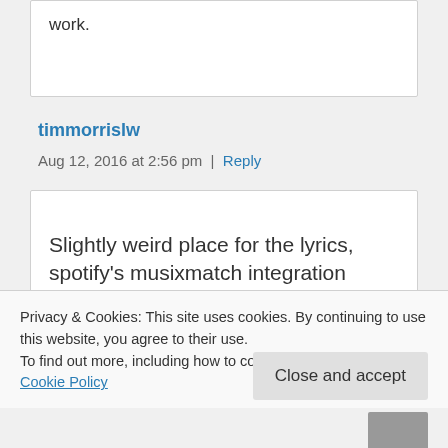work.
timmorrislw
Aug 12, 2016 at 2:56 pm  |  Reply
Slightly weird place for the lyrics, spotify's musixmatch integration
Privacy & Cookies: This site uses cookies. By continuing to use this website, you agree to their use.
To find out more, including how to control cookies, see here: Cookie Policy
Close and accept